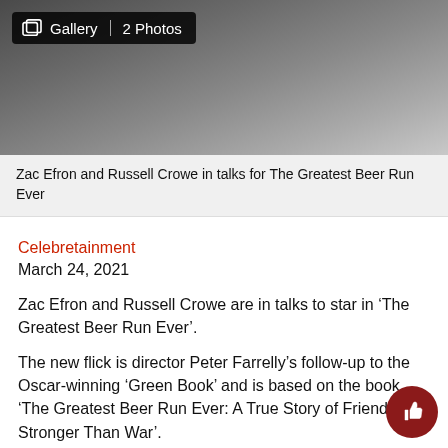[Figure (photo): Photo of men in suits, partially visible, with dark background]
Zac Efron and Russell Crowe in talks for The Greatest Beer Run Ever
Celebretainment
March 24, 2021
Zac Efron and Russell Crowe are in talks to star in ‘The Greatest Beer Run Ever’.
The new flick is director Peter Farrelly’s follow-up to the Oscar-winning ‘Green Book’ and is based on the book ‘The Greatest Beer Run Ever: A True Story of Friendship Stronger Than War’.
Apple Studios are in discussions to finance the project with Bill Murray being courted for a supporting role.